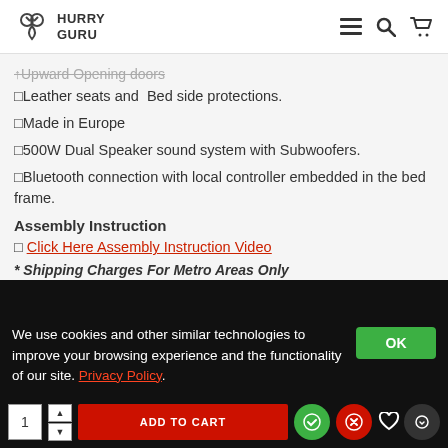HURRY GURU
↑Upward Opening doors
✓Leather seats and  Bed side protections.
✓Made in Europe
✓500W Dual Speaker sound system with Subwoofers.
✓Bluetooth connection with local controller embedded in the bed frame.
Assembly Instruction
◻ Click Here Assembly Instruction Video
* Shipping Charges For Metro Areas Only
We use cookies and other similar technologies to improve your browsing experience and the functionality of our site. Privacy Policy.